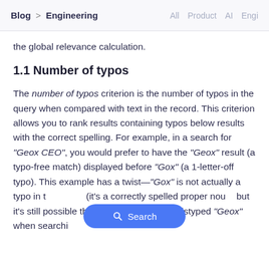Blog > Engineering   All  Product  AI  Engi
the global relevance calculation.
1.1 Number of typos
The number of typos criterion is the number of typos in the query when compared with text in the record. This criterion allows you to rank results containing typos below results with the correct spelling. For example, in a search for "Geox CEO", you would prefer to have the "Geox" result (a typo-free match) displayed before "Gox" (a 1-letter-off typo). This example has a twist—"Gox" is not actually a typo in t (it's a correctly spelled proper nou but it's still possible that a user could have mistyped "Geox" when searching